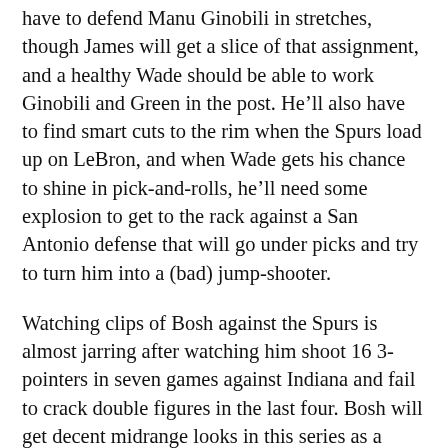have to defend Manu Ginobili in stretches, though James will get a slice of that assignment, and a healthy Wade should be able to work Ginobili and Green in the post. He'll also have to find smart cuts to the rim when the Spurs load up on LeBron, and when Wade gets his chance to shine in pick-and-rolls, he'll need some explosion to get to the rack against a San Antonio defense that will go under picks and try to turn him into a (bad) jump-shooter.
Watching clips of Bosh against the Spurs is almost jarring after watching him shoot 16 3-pointers in seven games against Indiana and fail to crack double figures in the last four. Bosh will get decent midrange looks in this series as a floor-stretcher, but in the past, he's been vicious attacking Duncan off the dribble, posting up Bonner, and going at Splitter all over the place. The Heat have actually called post-ups for him against San Antonio, and they've used other sets designed to get him moving into a dribble-drive,